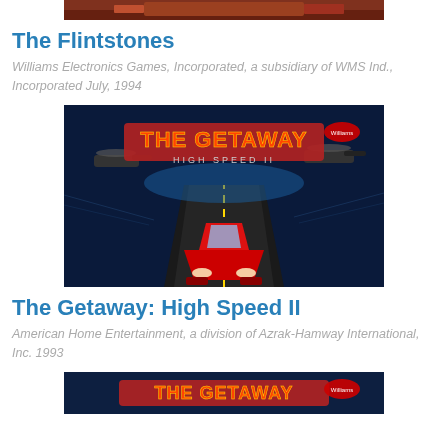[Figure (photo): Top partial image of The Flintstones pinball game backglass, showing colorful characters (cropped, only top strip visible)]
The Flintstones
Williams Electronics Games, Incorporated, a subsidiary of WMS Ind., Incorporated July, 1994
[Figure (photo): Full backglass artwork for The Getaway: High Speed II pinball game, featuring a red sports car racing on a highway at night with helicopters and the game title in large letters]
The Getaway: High Speed II
American Home Entertainment, a division of Azrak-Hamway International, Inc. 1993
[Figure (photo): Partial bottom-cropped image showing the top portion of another The Getaway pinball backglass with the game title visible]